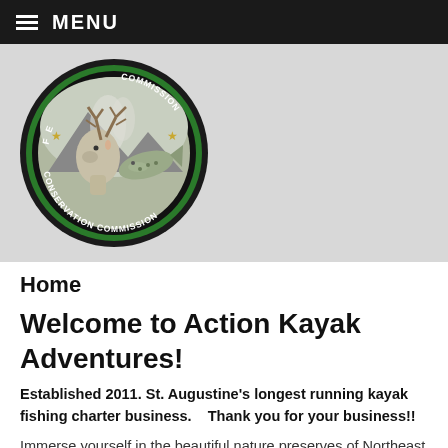MENU
[Figure (logo): Florida Fish and Wildlife Conservation Commission circular seal/logo featuring a deer and fish in the center, surrounded by text reading CONSERVATION COMMISSION with gold stars, on a grey background]
Home
Welcome to Action Kayak Adventures!
Established 2011. St. Augustine's longest running kayak fishing charter business.    Thank you for your business!!
Immerse yourself in the beautiful nature preserves of Northeast Florida